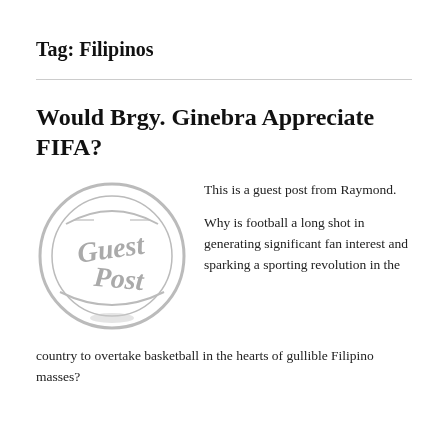Tag: Filipinos
Would Brgy. Ginebra Appreciate FIFA?
[Figure (illustration): A circular stamp-style graphic in gray with cursive text reading 'Guest Post']
This is a guest post from Raymond.

Why is football a long shot in generating significant fan interest and sparking a sporting revolution in the country to overtake basketball in the hearts of gullible Filipino masses?